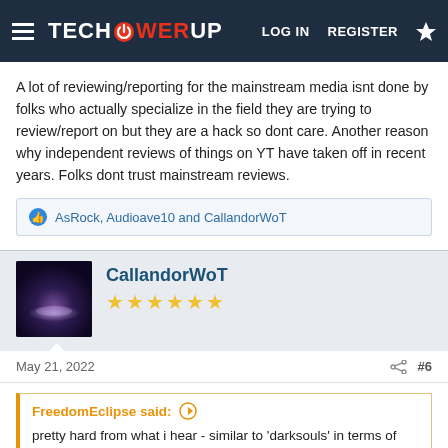TECHPOWERUP  LOG IN  REGISTER
A lot of reviewing/reporting for the mainstream media isnt done by folks who actually specialize in the field they are trying to review/report on but they are a hack so dont care. Another reason why independent reviews of things on YT have taken off in recent years. Folks dont trust mainstream reviews.
AsRock, Audioave10 and CallandorWoT
CallandorWoT ★★★★★★
May 21, 2022  #6
FreedomEclipse said:
pretty hard from what i hear - similar to 'darksouls' in terms of difficulty. Absolutely brutal if you dont know what youre doing but very rewarding if you do and thats why people play the game - they want to